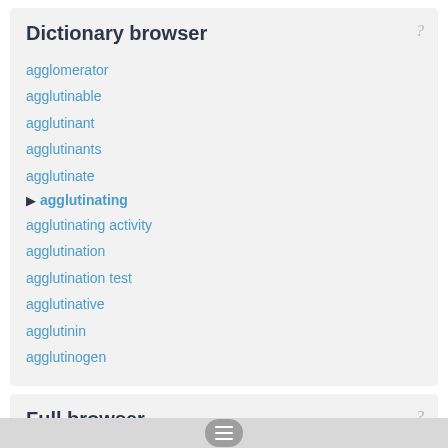Dictionary browser
agglomerator
agglutinable
agglutinant
agglutinants
agglutinate
▶ agglutinating
agglutinating activity
agglutination
agglutination test
agglutinative
agglutinin
agglutinogen
Full browser
agglutinates